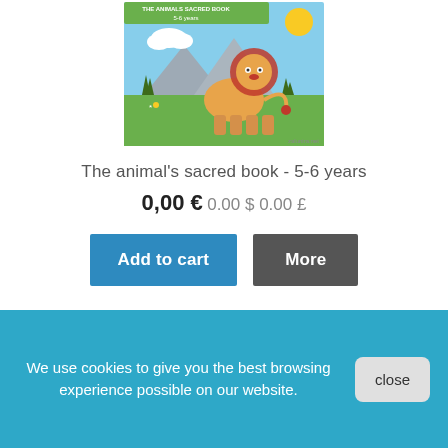[Figure (illustration): Book cover illustration showing a cartoon lion standing on green grass with mountains and blue sky in the background. Title reads 'THE ANIMALS SACRED BOOK 5-6 years' on a green banner. Website 'zalunira.net' shown at bottom right.]
The animal's sacred book - 5-6 years
0,00 € 0.00 $ 0.00 £
Add to cart | More
We use cookies to give you the best browsing experience possible on our website.